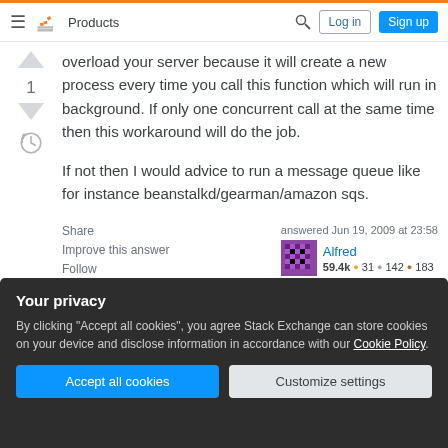Stack Overflow navigation: hamburger menu, logo, Products, search, Log in, Sign up
overload your server because it will create a new process every time you call this function which will run in background. If only one concurrent call at the same time then this workaround will do the job.
If not then I would advice to run a message queue like for instance beanstalkd/gearman/amazon sqs.
Share  Improve this answer  Follow   answered Jun 19, 2009 at 23:58  Alfred  59.4k  31  142  183
Your privacy
By clicking "Accept all cookies", you agree Stack Exchange can store cookies on your device and disclose information in accordance with our Cookie Policy.
Accept all cookies  Customize settings